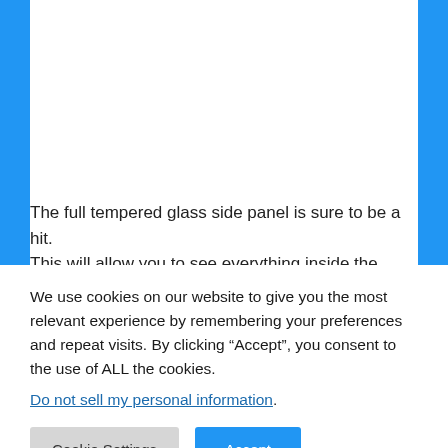The full tempered glass side panel is sure to be a hit. This will allow you to see everything inside the build and help you to show off your hardware.
We use cookies on our website to give you the most relevant experience by remembering your preferences and repeat visits. By clicking “Accept”, you consent to the use of ALL the cookies.
Do not sell my personal information.
Cookie Settings
Accept